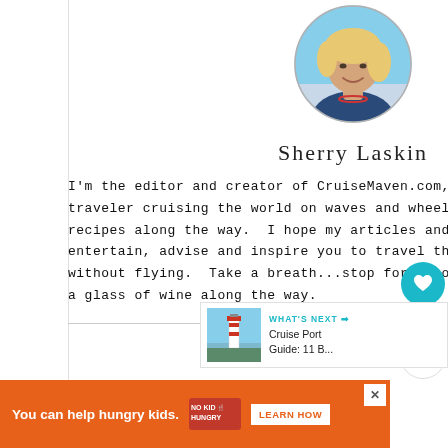[Figure (photo): Circular profile photo of a smiling blonde woman outdoors]
Sherry Laskin
I'm the editor and creator of CruiseMaven.com, a solo traveler cruising the world on waves and wheels, collecting recipes along the way.  I hope my articles and photos entertain, advise and inspire you to travel the world without flying.  Take a breath...stop for a local meal and a glass of wine along the way.
[Figure (infographic): Social media icons: Facebook, Instagram, YouTube, Twitter]
[Figure (infographic): What's Next section showing a lighthouse image and text: Cruise Port Guide: 11 B...]
[Figure (infographic): Advertisement banner: You can help hungry kids. No Kid Hungry. LEARN HOW]